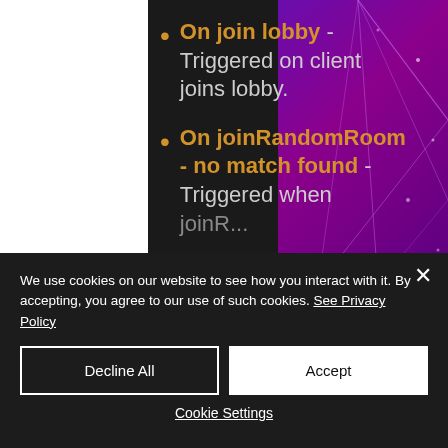On join lobby - Triggered on client joins lobby.
On joinRandomRoom - no match found - Triggered when joinRandomRoom...
We use cookies on our website to see how you interact with it. By accepting, you agree to our use of such cookies. See Privacy Policy
Decline All
Accept
Cookie Settings